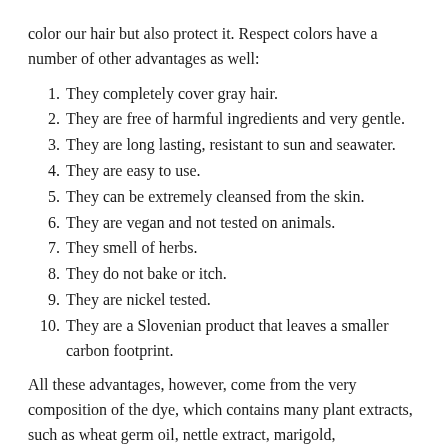color our hair but also protect it. Respect colors have a number of other advantages as well:
1. They completely cover gray hair.
2. They are free of harmful ingredients and very gentle.
3. They are long lasting, resistant to sun and seawater.
4. They are easy to use.
5. They can be extremely cleansed from the skin.
6. They are vegan and not tested on animals.
7. They smell of herbs.
8. They do not bake or itch.
9. They are nickel tested.
10. They are a Slovenian product that leaves a smaller carbon footprint.
All these advantages, however, come from the very composition of the dye, which contains many plant extracts, such as wheat germ oil, nettle extract, marigold,